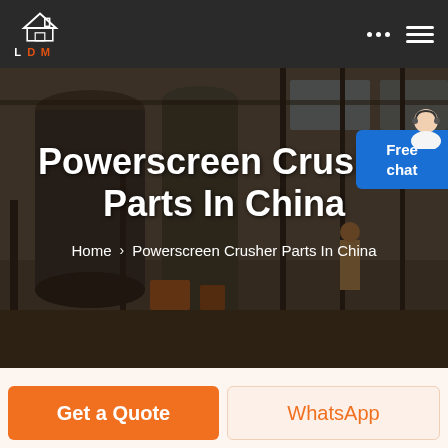[Figure (screenshot): LDM company logo with house/building icon in orange and white on dark background navigation bar]
[Figure (photo): Industrial factory interior with large crushing/milling machinery, silos, conveyors and equipment in a large warehouse space]
Powerscreen Crusher Parts In China
Home › Powerscreen Crusher Parts In China
Free chat
Get a Quote
WhatsApp